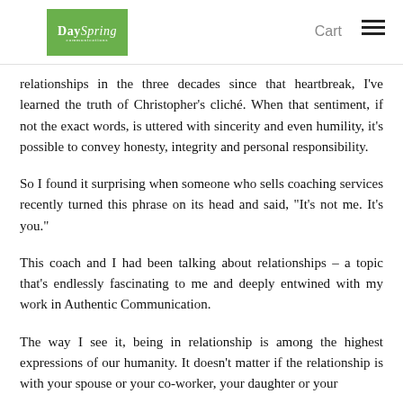DaySpring Communications | Cart
relationships in the three decades since that heartbreak, I've learned the truth of Christopher's cliché. When that sentiment, if not the exact words, is uttered with sincerity and even humility, it's possible to convey honesty, integrity and personal responsibility.
So I found it surprising when someone who sells coaching services recently turned this phrase on its head and said, "It's not me. It's you."
This coach and I had been talking about relationships – a topic that's endlessly fascinating to me and deeply entwined with my work in Authentic Communication.
The way I see it, being in relationship is among the highest expressions of our humanity. It doesn't matter if the relationship is with your spouse or your co-worker, your daughter or your